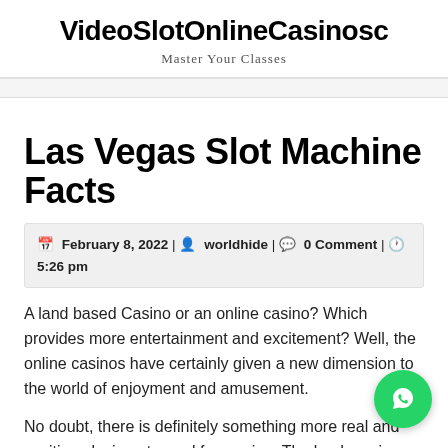VideoSlotOnlineCasinosc
Master Your Classes
Las Vegas Slot Machine Facts
February 8, 2022 | worldhide | 0 Comment | 5:26 pm
A land based Casino or an online casino? Which provides more entertainment and excitement? Well, the online casinos have certainly given a new dimension to the world of enjoyment and amusement.
No doubt, there is definitely something more real and exciting playing at a real fun casino. The loud music, drinking a few free beverages, wagering your money and